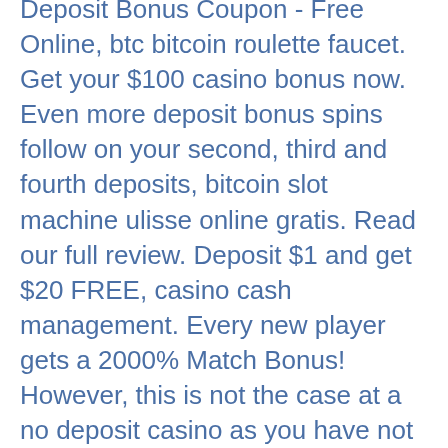Deposit Bonus Coupon - Free Online, btc bitcoin roulette faucet. Get your $100 casino bonus now. Even more deposit bonus spins follow on your second, third and fourth deposits, bitcoin slot machine ulisse online gratis. Read our full review. Deposit $1 and get $20 FREE, casino cash management. Every new player gets a 2000% Match Bonus! However, this is not the case at a no deposit casino as you have not deposited any of your own hard-earned money, wild joker online bitcoin casino no deposit bonus. Therefore, if you try out the online casino and find out that it is not really to your liking, for whatever reason, you do not have to go through any withdrawal process to get the money that you recently deposited back. You will have to wager $4,200 (30-times the bonus value) to clear the bonus and be able to withdraw your winnings. Latest Online